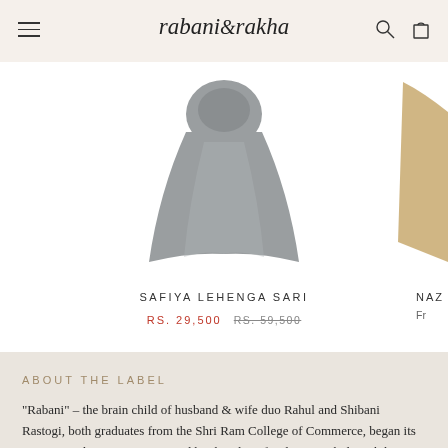rabani & rakha — navigation header with hamburger menu, logo, search and cart icons
[Figure (photo): Grey lehenga sari garment displayed on white background, partial view of another garment on right edge]
SAFIYA LEHENGA SARI
RS. 29,500  RS. 59,500
NAZ
Fr
ABOUT THE LABEL
“Rabani” – the brain child of husband & wife duo Rahul and Shibani Rastogi, both graduates from the Shri Ram College of Commerce, began its artistic conduit in 1999. Inspired by their love for design Rahul & Shibani built the label into an innovative design house, an entity sought after in the finest boutiques in India and around the